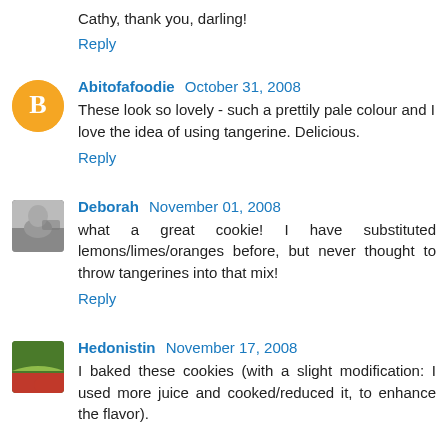Cathy, thank you, darling!
Reply
Abitofafoodie  October 31, 2008
These look so lovely - such a prettily pale colour and I love the idea of using tangerine. Delicious.
Reply
Deborah  November 01, 2008
what a great cookie! I have substituted lemons/limes/oranges before, but never thought to throw tangerines into that mix!
Reply
Hedonistin  November 17, 2008
I baked these cookies (with a slight modification: I used more juice and cooked/reduced it, to enhance the flavor).